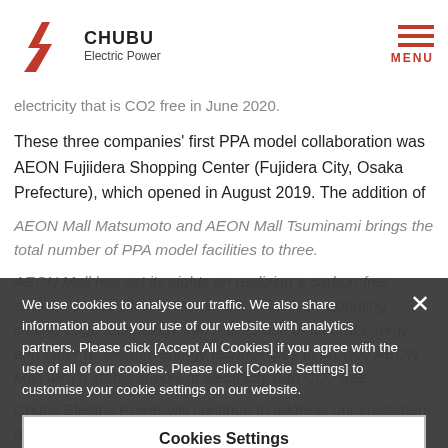CHUBU Electric Power | MENU
electricity that is CO2 free in June 2020.
These three companies' first PPA model collaboration was AEON Fujiidera Shopping Center (Fujidera City, Osaka Prefecture), which opened in August 2019. The addition of
AEON Mall Matsumoto and AEON Mall Tsuminami brings the total number of PPA model facilities to three.
AEON Mall has set its sights on realizing a carbon-free society. Chubu Electric Power will proactively adopting cutting-edge technology that makes use of natural energy and other renewable energy technologies to provide AEON Mall with a stable supply of electricity with CO2 free.
Chubu Electric Power will continue to address our customers' desire to reduce their environmental footprint and strive to construct a platform for trading-
We use cookies to analyse our traffic. We also share information about your use of our website with analytics partners. Please click [Accept All Cookies] if you agree with the use of all of our cookies. Please click [Cookie Settings] to customise your cookie settings on our website.
Cookies Settings
Reject All
Accept All Cookies